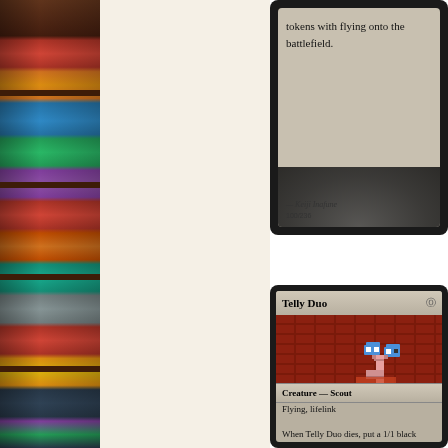[Figure (photo): Bookshelf with colorful books on dark wooden shelves, left side of page]
[Figure (illustration): Top portion of a Magic: The Gathering style card showing text 'tokens with flying onto the battlefield.' with artist credit Keiji Inafune and number 100/236]
[Figure (illustration): Magic: The Gathering style card named 'Telly Duo', Creature - Scout, with pixel art of characters on brick wall background. Text reads: Flying, lifelink. When Telly Duo dies, put a 1/1 black Telly creature token with]